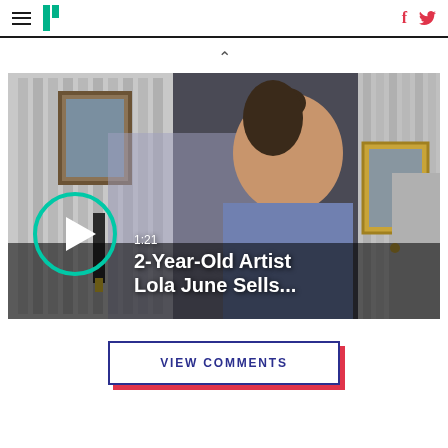HuffPost navigation with hamburger menu, logo, Facebook and Twitter icons
^
[Figure (screenshot): Video thumbnail showing a 2-year-old child artist named Lola June holding markers in an art gallery with paintings on the walls. Video duration shown as 1:21 with a teal play button circle. Text overlay reads '1:21 / 2-Year-Old Artist Lola June Sells...']
VIEW COMMENTS